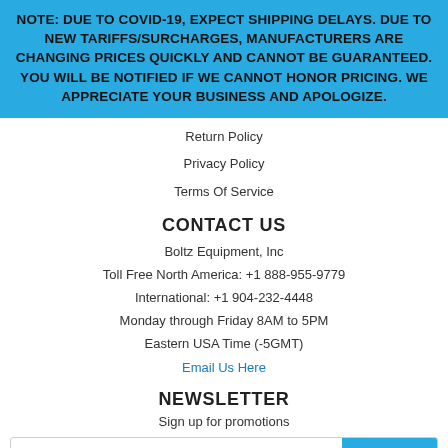NOTE: DUE TO COVID-19, EXPECT SHIPPING DELAYS. DUE TO NEW TARIFFS/SURCHARGES, MANUFACTURERS ARE CHANGING PRICES QUICKLY AND CANNOT BE GUARANTEED. YOU WILL BE NOTIFIED IF WE CANNOT HONOR PRICING. WE APPRECIATE YOUR BUSINESS AND APOLOGIZE.
Return Policy
Privacy Policy
Terms Of Service
CONTACT US
Boltz Equipment, Inc
Toll Free North America: +1 888-955-9779
International: +1 904-232-4448
Monday through Friday 8AM to 5PM
Eastern USA Time (-5GMT)
Email Us Here
NEWSLETTER
Sign up for promotions